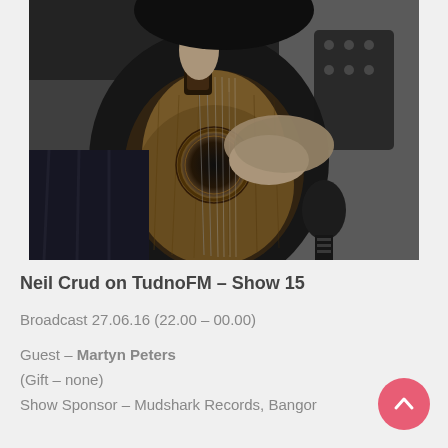[Figure (photo): Black and white photograph of a person playing an acoustic guitar, close-up on the body of the guitar and hands, with a microphone visible in the lower right area.]
Neil Crud on TudnoFM – Show 15
Broadcast 27.06.16 (22.00 – 00.00)
Guest – Martyn Peters
(Gift – none)
Show Sponsor – Mudshark Records, Bangor